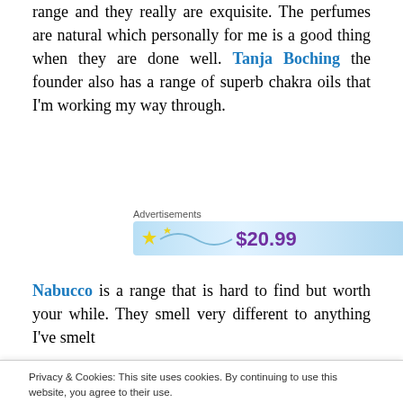range and they really are exquisite. The perfumes are natural which personally for me is a good thing when they are done well. Tanja Boching the founder also has a range of superb chakra oils that I'm working my way through.
[Figure (other): Advertisement banner showing '$20.99' in purple text on a light blue gradient background with sparkle graphics. Labeled 'Advertisements' above.]
Nabucco is a range that is hard to find but worth your while. They smell very different to anything I've smelt
Privacy & Cookies: This site uses cookies. By continuing to use this website, you agree to their use. To find out more, including how to control cookies, see here: Cookie Policy
down. He released Grimoire, late in 2010 and I haven't yet